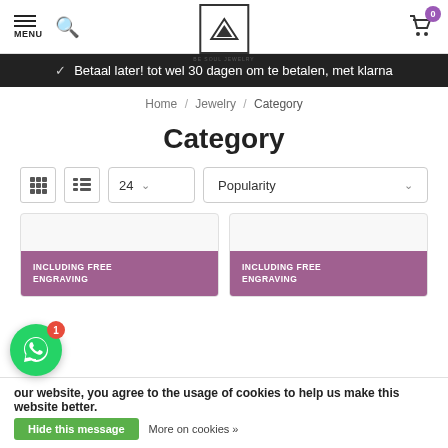MENU | Search | Logo — BE SOUL JEWELRY | Cart (0)
✓ Betaal later! tot wel 30 dagen om te betalen, met klarna
Home / Jewelry / Category
Category
24 ∨   Popularity ∨
[Figure (screenshot): Two product cards with purple 'INCLUDING FREE ENGRAVING' badge labels]
our website, you agree to the usage of cookies to help us make this website better. Hide this message   More on cookies »